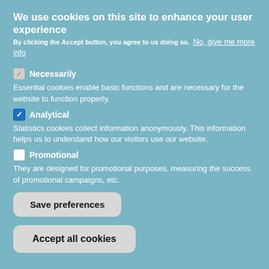We use cookies on this site to enhance your user experience
By clicking the Accept button, you agree to us doing so.  No, give me more info
[checkbox-grey] Necessarily
Essential cookies enable basic functions and are necessary for the website to function properly.
[checkbox-blue] Analytical
Statistics cookies collect information anonymously. This information helps us to understand how our visitors use our website.
[checkbox-empty] Promotional
They are designed for promotional purposes, measuring the success of promotional campaigns, etc.
Save preferences
Accept all cookies